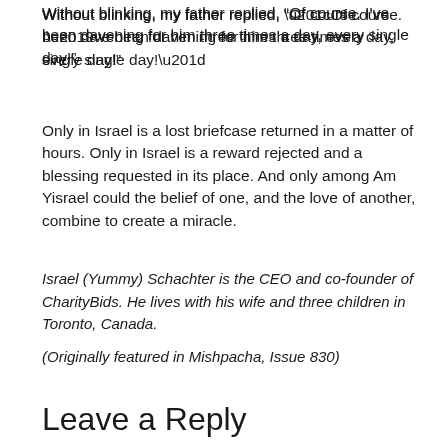Without blinking, my father replied, “Of course. I’ve been davening for him three times a day, every single day!”
Only in Israel is a lost briefcase returned in a matter of hours. Only in Israel is a reward rejected and a blessing requested in its place. And only among Am Yisrael could the belief of one, and the love of another, combine to create a miracle.
Israel (Yummy) Schachter is the CEO and co-founder of CharityBids. He lives with his wife and three children in Toronto, Canada.
(Originally featured in Mishpacha, Issue 830)
Leave a Reply